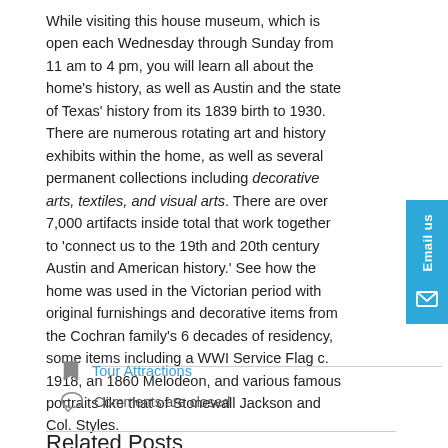While visiting this house museum, which is open each Wednesday through Sunday from 11 am to 4 pm, you will learn all about the home's history, as well as Austin and the state of Texas' history from its 1839 birth to 1930. There are numerous rotating art and history exhibits within the home, as well as several permanent collections including decorative arts, textiles, and visual arts. There are over 7,000 artifacts inside total that work together to 'connect us to the 19th and 20th century Austin and American history.' See how the home was used in the Victorian period with original furnishings and decorative items from the Cochran family's 6 decades of residency, some items including a WWI Service Flag c. 1918, an 1860 Melodeon, and various famous portraits like that of Stonewall Jackson and Col. Styles.
Guided tours are offered each day at 12 pm, 1 pm, and 2 pm and will allow you to learn more in-depth information on the history of the building and the items presented. For instance, during a tour you will learn about how this building was actually first a school for the blind, then a federal war hospital, then home to the Neills and then Cochrans.
Tour Attractions
Comments are closed
Related Posts